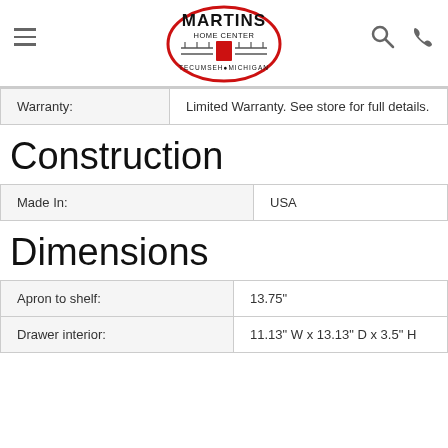Martins Home Center — Tecumseh, Michigan — navigation header with logo, hamburger menu, search and phone icons
| Warranty: |  |
| --- | --- |
| Warranty: | Limited Warranty. See store for full details. |
Construction
| Made In: | USA |
| --- | --- |
| Made In: | USA |
Dimensions
| Apron to shelf: | 13.75" |
| --- | --- |
| Apron to shelf: | 13.75" |
| Drawer interior: | 11.13" W x 13.13" D x 3.5" H |